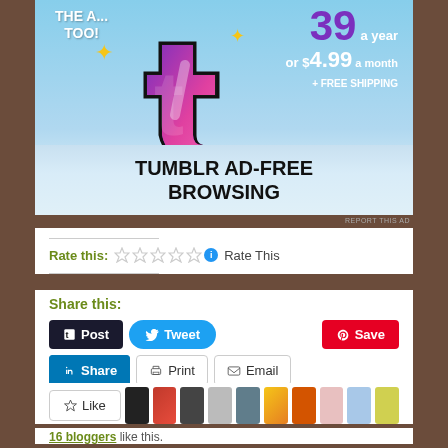[Figure (illustration): Tumblr ad banner showing the Tumblr 't' logo with sparkles on a blue sky background. Text reads 'THE A... TOO!' on the left, '$39 a year or $4.99 a month + FREE SHIPPING' on the right, and 'TUMBLR AD-FREE BROWSING' at the bottom in bold black text.]
REPORT THIS AD
Rate this: ☆☆☆☆☆ ℹ Rate This
Share this:
Post
Tweet
Save
Print
Email
Share
Like
16 bloggers like this.